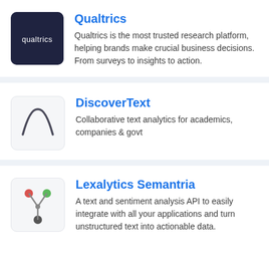[Figure (logo): Qualtrics logo — dark navy square with white text 'qualtrics']
Qualtrics
Qualtrics is the most trusted research platform, helping brands make crucial business decisions. From surveys to insights to action.
[Figure (logo): DiscoverText logo — white square with a dark grey bell curve / arch shape]
DiscoverText
Collaborative text analytics for academics, companies & govt
[Figure (logo): Lexalytics Semantria logo — light grey square with a Y-shaped node graph in red, green, and grey]
Lexalytics Semantria
A text and sentiment analysis API to easily integrate with all your applications and turn unstructured text into actionable data.